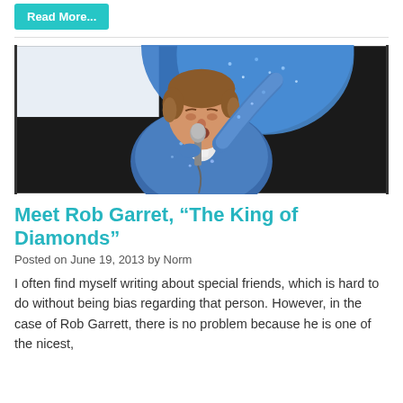Read More...
[Figure (photo): A male performer in a blue sequined jacket singing into a microphone on stage, with a blue sequined curtain or backdrop behind him. He has brown hair and appears to be performing energetically.]
Meet Rob Garret, “The King of Diamonds”
Posted on June 19, 2013 by Norm
I often find myself writing about special friends, which is hard to do without being bias regarding that person. However, in the case of Rob Garrett, there is no problem because he is one of the nicest,